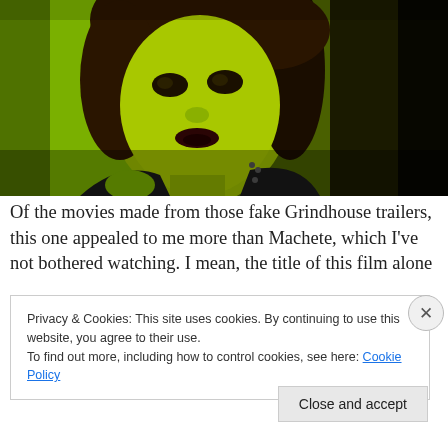[Figure (photo): A woman with dark wavy hair, dramatic makeup with dark lipstick, wearing a black leather jacket. The image has a strong green/yellow color tint with dark shadows. She is posed against a green-tinted wall background in a grindhouse movie style.]
Of the movies made from those fake Grindhouse trailers, this one appealed to me more than Machete, which I've not bothered watching. I mean, the title of this film alone
Privacy & Cookies: This site uses cookies. By continuing to use this website, you agree to their use.
To find out more, including how to control cookies, see here: Cookie Policy
Close and accept